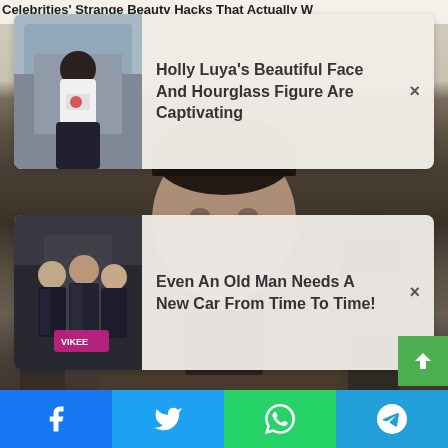Celebrities' Strange Beauty Hacks That Actually W...
[Figure (screenshot): Ad card: Holly Luya beautiful face thumbnail with woman in white top]
Holly Luya's Beautiful Face And Hourglass Figure Are Captivating
[Figure (screenshot): Ad card: Even An Old Man Needs A New Car thumbnail with men in suits]
Even An Old Man Needs A New Car From Time To Time!
[Figure (photo): Movie still of a young man in military uniform looking upward, soldiers in background]
[Figure (screenshot): Social share bar with Facebook, Twitter, WhatsApp, and Telegram buttons]